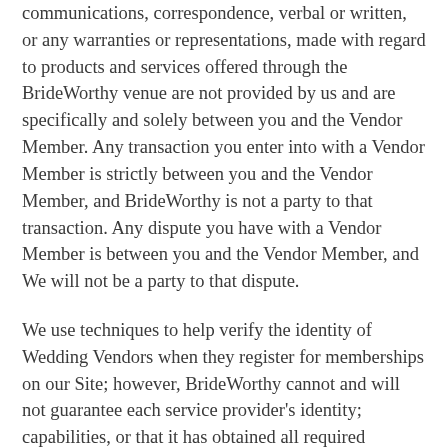communications, correspondence, verbal or written, or any warranties or representations, made with regard to products and services offered through the BrideWorthy venue are not provided by us and are specifically and solely between you and the Vendor Member. Any transaction you enter into with a Vendor Member is strictly between you and the Vendor Member, and BrideWorthy is not a party to that transaction. Any dispute you have with a Vendor Member is between you and the Vendor Member, and We will not be a party to that dispute.
We use techniques to help verify the identity of Wedding Vendors when they register for memberships on our Site; however, BrideWorthy cannot and will not guarantee each service provider's identity; capabilities, or that it has obtained all required permits, licenses or consents or that it complies with all applicable laws. In addition, We cannot guarantee that information provided by or about Vendor Members on the Site is accurate. You should use...